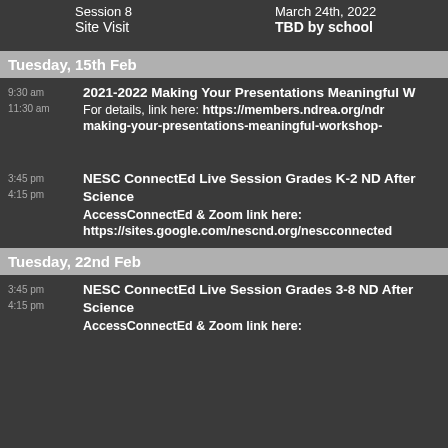Session 8
Site Visit
March 24th, 2022
TBD by school
Tuesday, 15th Feb
9:30 am
11:30 am
2021-2022 Making Your Presentations Meaningful W...
For details, link here: https://members.ndrea.org/ndr...
making-your-presentations-meaningful-workshop-...
3:45 pm
4:15 pm
NESC ConnectEd Live Session Grades K-2 ND After...
Science
AccessConnectEd & Zoom link here:
https://sites.google.com/nescnd.org/nescconnected...
Tuesday, 22nd Feb
3:45 pm
4:15 pm
NESC ConnectEd Live Session Grades 3-8 ND After...
Science
AccessConnectEd & Zoom link here: